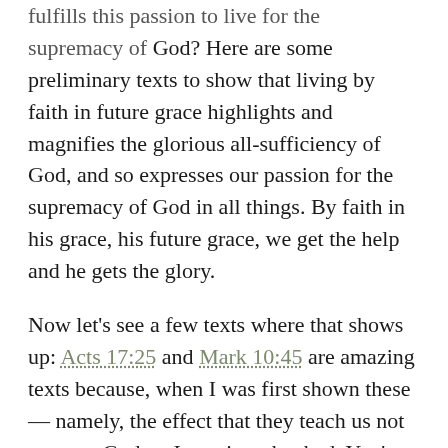fulfills this passion to live for the supremacy of God? Here are some preliminary texts to show that living by faith in future grace highlights and magnifies the glorious all-sufficiency of God, and so expresses our passion for the supremacy of God in all things. By faith in his grace, his future grace, we get the help and he gets the glory.
Now let's see a few texts where that shows up: Acts 17:25 and Mark 10:45 are amazing texts because, when I was first shown these — namely, the effect that they teach us not to serve God — I was just shocked. You're supposed to serve God, and these texts tell you: don't serve God — in a certain way.
[God is not] served by human hands, as though he needed anything, since he himself gives to